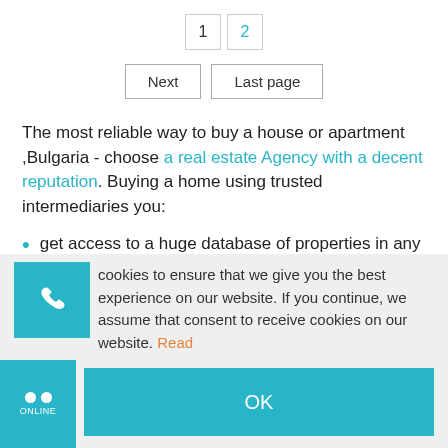1  2
Next  Last page
The most reliable way to buy a house or apartment ,Bulgaria - choose a real estate Agency with a decent reputation. Buying a home using trusted intermediaries you:
get access to a huge database of properties in any region of the country;
cookies to ensure that we give you the best experience on our website. If you continue, we assume that consent to receive cookies on our website. Read
OK